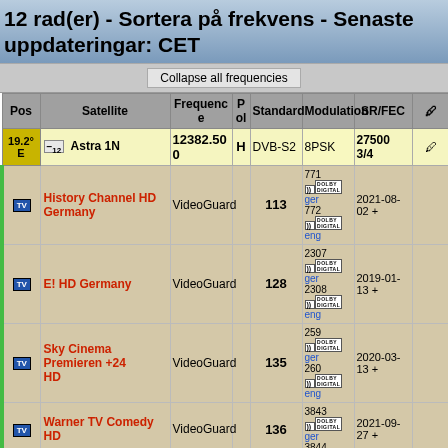12 rad(er) - Sortera på frekvens - Senaste uppdateringar: CET
| Pos | Satellite | Frequency | Pol | Standard | Modulation | SR/FEC |  |
| --- | --- | --- | --- | --- | --- | --- | --- |
| 19.2° E | [-]12 Astra 1N | 12382.50 0 | H | DVB-S2 | 8PSK | 27500 3/4 |  |
|  | History Channel HD Germany | VideoGuard |  | 113 | 771 ger 772 eng | 2021-08-02 + |  |
|  | E! HD Germany | VideoGuard |  | 128 | 2307 ger 2308 eng | 2019-01-13 + |  |
|  | Sky Cinema Premieren +24 HD | VideoGuard |  | 135 | 259 ger 260 eng | 2020-03-13 + |  |
|  | Warner TV Comedy HD | VideoGuard |  | 136 | 3843 ger 3844 | 2021-09-27 + |  |